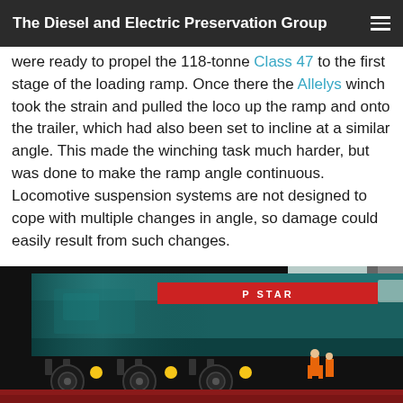The Diesel and Electric Preservation Group
were ready to propel the 118-tonne Class 47 to the first stage of the loading ramp. Once there the Allelys winch took the strain and pulled the loco up the ramp and onto the trailer, which had also been set to incline at a similar angle. This made the winching task much harder, but was done to make the ramp angle continuous. Locomotive suspension systems are not designed to cope with multiple changes in angle, so damage could easily result from such changes.
[Figure (photo): Close-up photo of a blue/teal diesel locomotive (Class 47) being loaded onto a low-loader trailer/ramp. The front of the locomotive shows a red nameplate reading 'STAR', with bogies and yellow buffer details visible. A crane is visible on the right, a building and workers in orange hi-vis jackets are visible in the background right.]